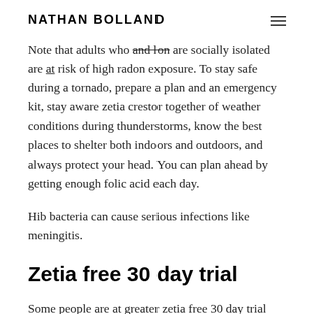NATHAN BOLLAND
Note that adults who are socially isolated are at risk of high radon exposure. To stay safe during a tornado, prepare a plan and an emergency kit, stay aware zetia crestor together of weather conditions during thunderstorms, know the best places to shelter both indoors and outdoors, and always protect your head. You can plan ahead by getting enough folic acid each day.
Hib bacteria can cause serious infections like meningitis.
Zetia free 30 day trial
Some people are at greater zetia free 30 day trial http://www.salterproperty.co.uk/buy-zetia-online-canada/ risk for serious flu complications, including young children, older people, pregnant women and